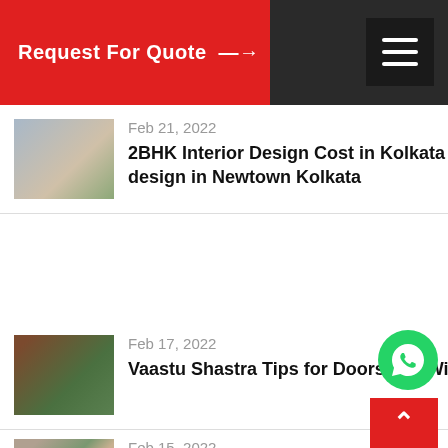Request For Quote →
Feb 21, 2022
2BHK Interior Design Cost in Kolkata 2022: Budget-friendly interior design in Newtown Kolkata
Feb 17, 2022
Vaastu Shastra Tips for Doors and Windows
Feb 15, 2022
Design your 2BHK or